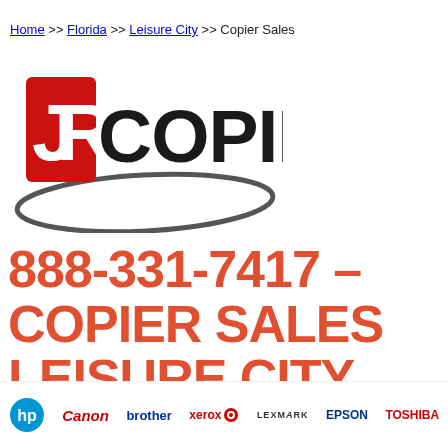Home >> Florida >> Leisure City >> Copier Sales
[Figure (logo): JR Copier logo — red letters JR with black COPIER text and a sweeping dark arc underneath]
888-331-7417 – COPIER SALES LEISURE CITY FLORIDA
[Figure (logo): Brand logos strip: HP, Canon, brother, xerox, LEXMARK, EPSON, TOSHIBA]